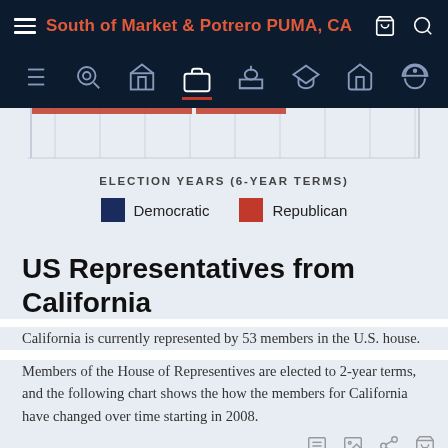South of Market & Potrero PUMA, CA
[Figure (other): Partial bar chart showing election years (6-year terms) with Democratic and Republican color legend. Top portion cropped.]
ELECTION YEARS (6-YEAR TERMS)
Democratic   Republican
US Representatives from California
California is currently represented by 53 members in the U.S. house.
Members of the House of Representives are elected to 2-year terms, and the following chart shows the how the members for California have changed over time starting in 2008.